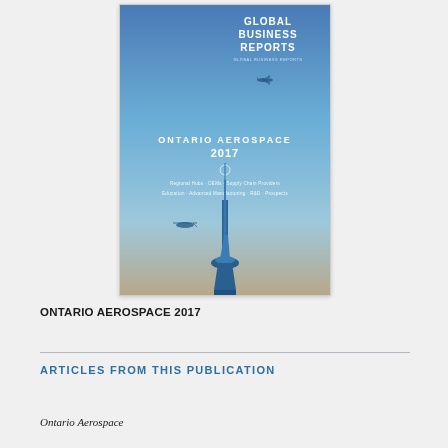[Figure (illustration): Cover of 'Ontario Aerospace 2017' report by Global Business Reports. Features an aerial/blue-sky background with the CN Tower and a small aircraft. Text on cover reads 'GLOBAL BUSINESS REPORTS', 'ONTARIO AEROSPACE', '2017', and subtitle lines about Regional Hubs, OEMs, Supply Chain Providers, Education, Advanced Manufacturing, R&D, Prospects.]
ONTARIO AEROSPACE 2017
ARTICLES FROM THIS PUBLICATION
Ontario Aerospace